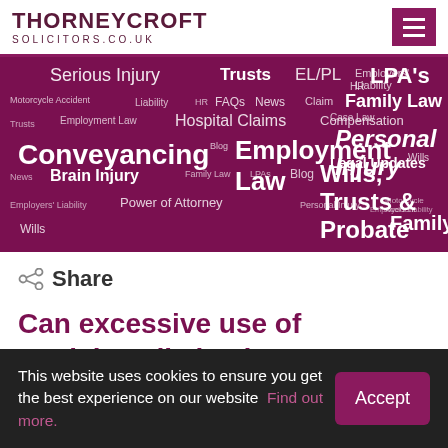THORNEYCROFT SOLICITORS.CO.UK
[Figure (infographic): Word cloud on dark magenta/purple background featuring legal practice area terms: Serious Injury, Trusts, EL/PL, Employers' Liability, HR, LPA's, Motorcycle Accident, Liability, FAQs, News, Claim, Family Law, Case Law, Hospital Claims, Compensation, Trusts, Employment Law, Blog, Legal Updates, Wills, Conveyancing, RTA, Employment Law, Hospital Claims, Serious Injury, News, Brain Injury, Family Law, LPAs, Blog, Wills Trusts & Probate, Employers' Liability, Power of Attorney, Personal Injury, Motorcycle Accident, Employers Liability, Wills, Family]
Share
Can excessive use of Social Media lead to
This website uses cookies to ensure you get the best experience on our website  Find out more.